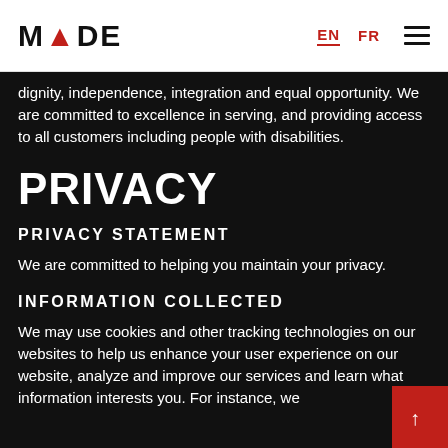MADE | EN | FR
dignity, independence, integration and equal opportunity. We are committed to excellence in serving, and providing access to all customers including people with disabilities.
PRIVACY
PRIVACY STATEMENT
We are committed to helping you maintain your privacy.
INFORMATION COLLECTED
We may use cookies and other tracking technologies on our websites to help us enhance your user experience on our website, analyze and improve our services and learn what information interests you. For instance, we